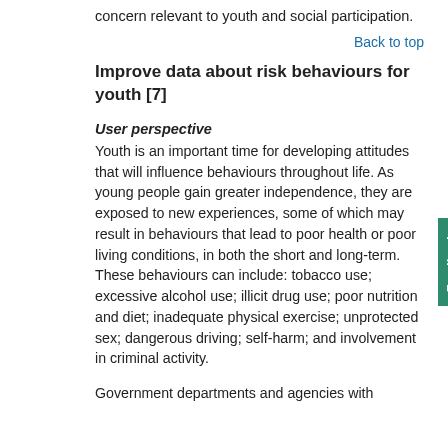concern relevant to youth and social participation.
Back to top
Improve data about risk behaviours for youth [7]
User perspective
Youth is an important time for developing attitudes that will influence behaviours throughout life. As young people gain greater independence, they are exposed to new experiences, some of which may result in behaviours that lead to poor health or poor living conditions, in both the short and long-term. These behaviours can include: tobacco use; excessive alcohol use; illicit drug use; poor nutrition and diet; inadequate physical exercise; unprotected sex; dangerous driving; self-harm; and involvement in criminal activity.
Government departments and agencies with